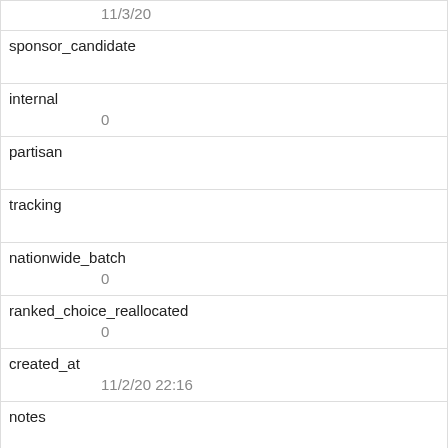| 11/3/20 |
| sponsor_candidate |  |
| internal | 0 |
| partisan |  |
| tracking |  |
| nationwide_batch | 0 |
| ranked_choice_reallocated | 0 |
| created_at | 11/2/20 22:16 |
| notes |  |
| url | https://docs.google.com/spreadsheets/d/157HttGCH6qx_hAWLg_KCrggbAUCbatOXH3WipShI/edit#gid= |